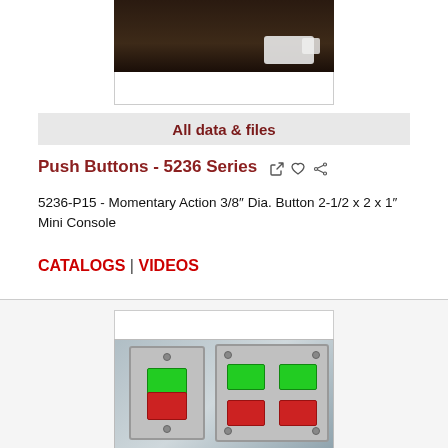[Figure (photo): Top product photo of a white mini console device on dark brown background]
All data & files
Push Buttons - 5236 Series
5236-P15 -  Momentary Action 3/8″  Dia.  Button 2-1/2 x 2 x 1″  Mini Console
CATALOGS | VIDEOS
[Figure (photo): Photo of two stainless steel push button panel plates — one single-gang with one green and one red button, one double-gang with two green and two red buttons]